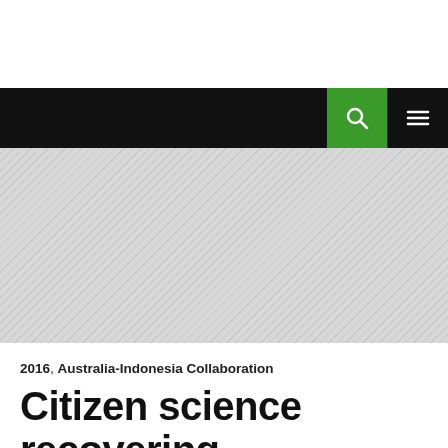[Figure (screenshot): Website navigation bar with black background, green search button icon, and white hamburger menu icon on the right]
[Figure (photo): Hero image area with diagonal hatching pattern in grey tones, representing a placeholder or actual photo content]
2016, Australia-Indonesia Collaboration
Citizen science recovering